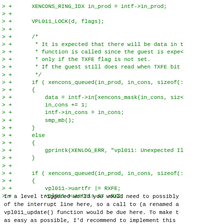[Figure (other): Code diff snippet in green monospace showing C source code additions with '> +' prefix markers, including XENCONS_RING_IDX assignment, VPL011_LOCK call, comment block, xencons_queued conditionals, data/in_cons/intf assignments, smp_mb call, else branch with gprintk, and second conditional with vpl011 uartfr/uartris assignments.]
In a level triggered world you would need to possibly
of the interrupt line here, so a call to (a renamed a
vpl011_update() function would be due here. To make t
as easy as possible, I'd recommend to implement this
state as described above and then call the interrupt